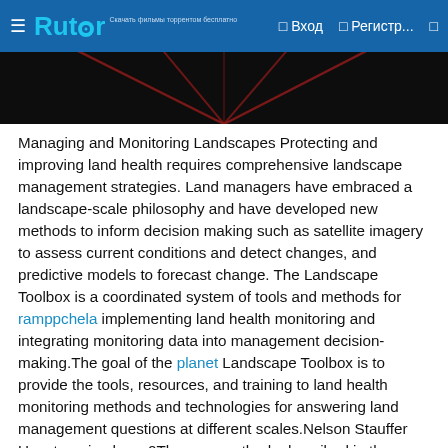Rutor — Вход  Регистр...
[Figure (photo): Dark background image with reddish radial lines/pattern on black]
Managing and Monitoring Landscapes Protecting and improving land health requires comprehensive landscape management strategies. Land managers have embraced a landscape-scale philosophy and have developed new methods to inform decision making such as satellite imagery to assess current conditions and detect changes, and predictive models to forecast change. The Landscape Toolbox is a coordinated system of tools and methods for ramppchela implementing land health monitoring and integrating monitoring data into management decision-making.The goal of the planet Landscape Toolbox is to provide the tools, resources, and training to land health monitoring methods and technologies for answering land management questions at different scales.Nelson Stauffer Uncategorized 0The core methods described in the Monitoring Manual for Grassland, Shrubland, and Savanna Ecosystems are intended for multiple use. Each method collects data that can be used to calculate multiple indicators and those indicators have broad